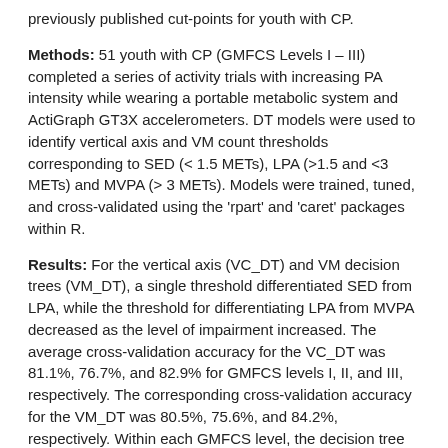previously published cut-points for youth with CP.
Methods: 51 youth with CP (GMFCS Levels I – III) completed a series of activity trials with increasing PA intensity while wearing a portable metabolic system and ActiGraph GT3X accelerometers. DT models were used to identify vertical axis and VM count thresholds corresponding to SED (< 1.5 METs), LPA (>1.5 and <3 METs) and MVPA (> 3 METs). Models were trained, tuned, and cross-validated using the 'rpart' and 'caret' packages within R.
Results: For the vertical axis (VC_DT) and VM decision trees (VM_DT), a single threshold differentiated SED from LPA, while the threshold for differentiating LPA from MVPA decreased as the level of impairment increased. The average cross-validation accuracy for the VC_DT was 81.1%, 76.7%, and 82.9% for GMFCS levels I, II, and III, respectively. The corresponding cross-validation accuracy for the VM_DT was 80.5%, 75.6%, and 84.2%, respectively. Within each GMFCS level, the decision tree models achieved better PA intensity recognition than previously published cut-points. The accuracy differential was greatest